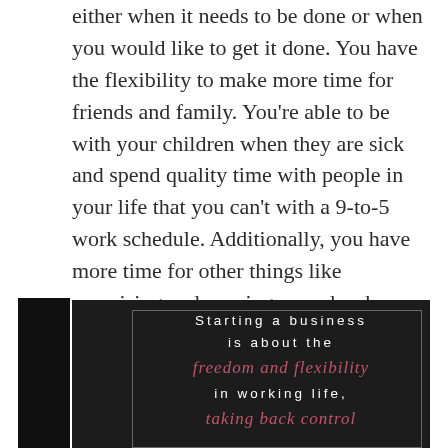either when it needs to be done or when you would like to get it done. You have the flexibility to make more time for friends and family. You're able to be with your children when they are sick and spend quality time with people in your life that you can't with a 9-to-5 work schedule. Additionally, you have more time for other things like exercising and running errands when you have a home-based business. In our opinion, this is one of the most valuable benefits of owning your own home-based business!
[Figure (infographic): Dark chalkboard-style image with a thin border. White spaced text reads 'Starting a business is about the', followed by cursive red/pink text 'freedom and flexibility', then white spaced text 'in working life,', then cursive red/pink text beginning 'taking back control'.]